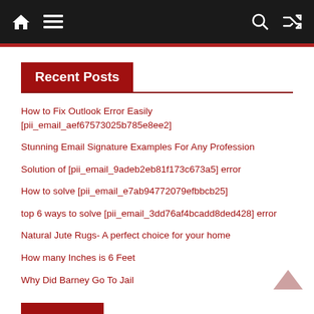Navigation bar with home, menu, search, and shuffle icons
Recent Posts
How to Fix Outlook Error Easily [pii_email_aef67573025b785e8ee2]
Stunning Email Signature Examples For Any Profession
Solution of [pii_email_9adeb2eb81f173c673a5] error
How to solve [pii_email_e7ab94772079efbbcb25]
top 6 ways to solve [pii_email_3dd76af4bcadd8ded428] error
Natural Jute Rugs- A perfect choice for your home
How many Inches is 6 Feet
Why Did Barney Go To Jail